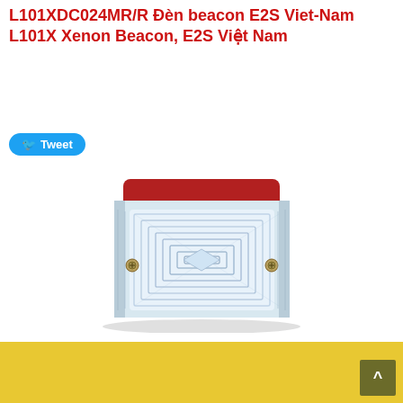L101XDC024MR/R Đèn beacon E2S Viet-Nam L101X Xenon Beacon, E2S Việt Nam
[Figure (photo): Product photo of E2S L101X Xenon Beacon with red top housing and clear prismatic lens, two mounting screws visible on front face]
[Figure (other): Yellow footer bar with dark olive back-to-top button showing caret symbol]